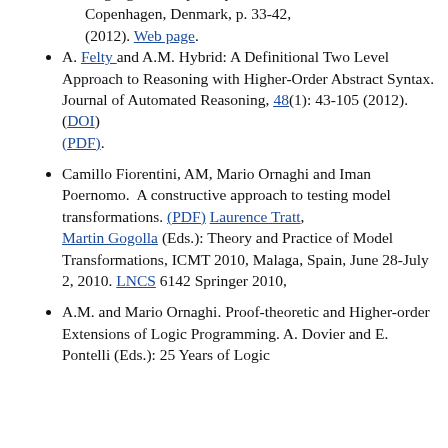languages, theory and practice, Copenhagen, Denmark, p. 33-42, (2012). Web page.
A. Felty and A.M. Hybrid: A Definitional Two Level Approach to Reasoning with Higher-Order Abstract Syntax. Journal of Automated Reasoning, 48(1): 43-105 (2012). (DOI) (PDF).
Camillo Fiorentini, AM, Mario Ornaghi and Iman Poernomo. A constructive approach to testing model transformations. (PDF) Laurence Tratt, Martin Gogolla (Eds.): Theory and Practice of Model Transformations, ICMT 2010, Malaga, Spain, June 28-July 2, 2010. LNCS 6142 Springer 2010,
A.M. and Mario Ornaghi. Proof-theoretic and Higher-order Extensions of Logic Programming. A. Dovier and E. Pontelli (Eds.): 25 Years of Logic